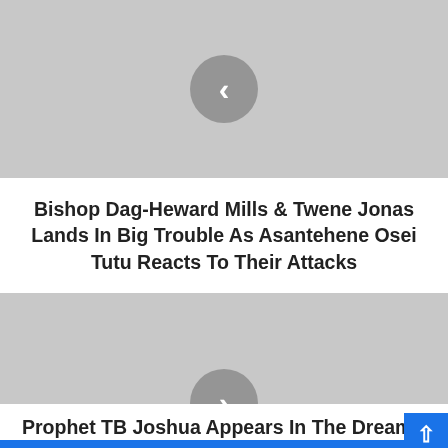[Figure (photo): Gray placeholder image with a left-arrow navigation circle button in the center]
Bishop Dag-Heward Mills & Twene Jonas Lands In Big Trouble As Asantehene Osei Tutu Reacts To Their Attacks
[Figure (photo): Gray placeholder image with a right-arrow navigation circle button in the center]
Prophet TB Joshua Appears In The Dream Of A